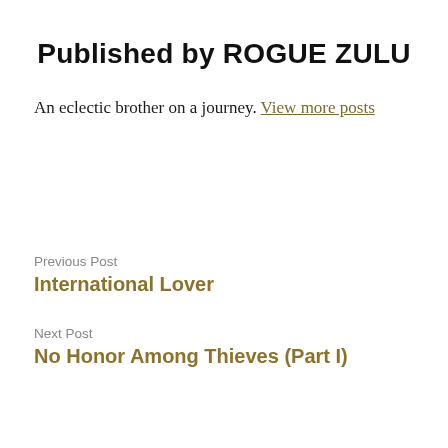Published by ROGUE ZULU
An eclectic brother on a journey. View more posts
Previous Post
International Lover
Next Post
No Honor Among Thieves (Part I)